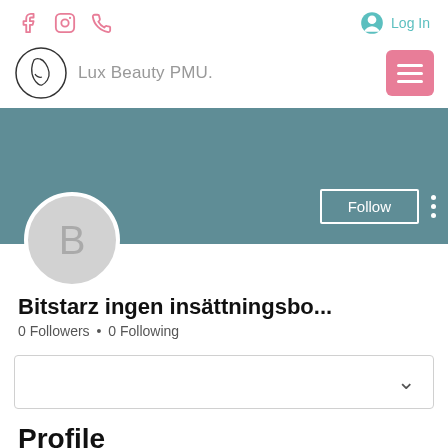Lux Beauty PMU - navigation with Facebook, Instagram, phone icons and Log In
[Figure (logo): Lux Beauty PMU logo with circular face illustration and text 'Lux Beauty PMU']
[Figure (photo): Teal/dark cyan profile banner with Follow button and vertical dots menu, and circular avatar with letter B]
Bitstarz ingen insättningsbo...
0 Followers • 0 Following
[Figure (screenshot): Dropdown/collapsible box with chevron down arrow]
Profile